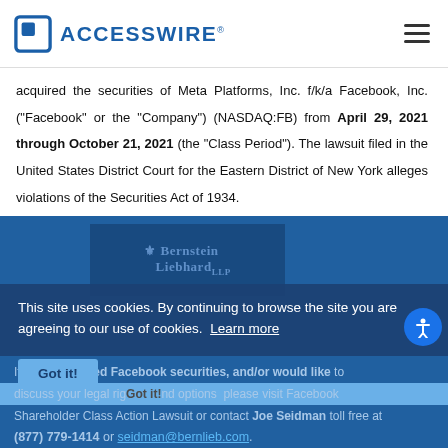ACCESSWIRE
acquired the securities of Meta Platforms, Inc. f/k/a Facebook, Inc. ("Facebook" or the "Company") (NASDAQ:FB) from April 29, 2021 through October 21, 2021 (the "Class Period"). The lawsuit filed in the United States District Court for the Eastern District of New York alleges violations of the Securities Act of 1934.
This site uses cookies. By continuing to browse the site you are agreeing to our use of cookies. Learn more
If you purchased Facebook securities, and/or would like to discuss your legal rights and options please visit Facebook Shareholder Class Action Lawsuit or contact Joe Seidman toll free at (877) 779-1414 or seidman@bernlieb.com.